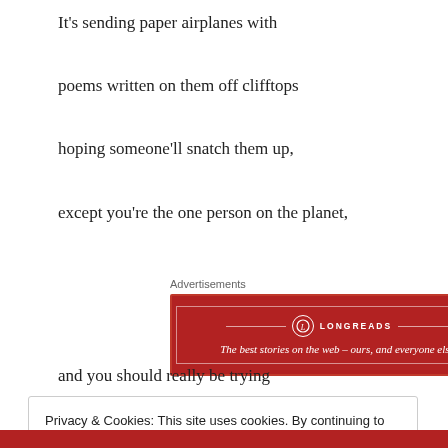It's sending paper airplanes with
poems written on them off clifftops
hoping someone'll snatch them up,
except you're the one person on the planet,
[Figure (other): Longreads advertisement banner: red background with 'LONGREADS' logo and tagline 'The best stories on the web – ours, and everyone else's.']
and you should really be trying
Privacy & Cookies: This site uses cookies. By continuing to use this website, you agree to their use.
To find out more, including how to control cookies, see here: Cookie Policy
Close and accept